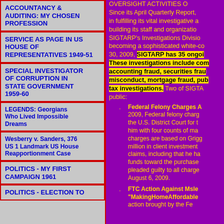ACCOUNTANCY & AUDITING: MY CHOSEN PROFESSION
SERVICE AS PAGE IN US HOUSE OF REPRESENTATIVES 1949-51
SPECIAL INVESTIGATOR OF CORRUPTION IN STATE GOVERNMENT 1959-60
LEGENDS: Georgians Who Lived Impossible Dreams
Wesberry v. Sanders, 376 US 1 Landmark US House Reapportionment Case
POLITICS - MY FIRST CAMPAIGN 1961
POLITICS - ELECTION TO
OVERSIGHT ACTIVITIES OF... Since its April Quarterly Report, in fulfilling its vital investigative and building its staff and organization, SIGTARP's Investigations Division becoming a sophisticated white-co 30, 2009, SIGTARP has 35 ongoing investigations. These investigations include commercial accounting fraud, securities fraud, misconduct, mortgage fraud, public tax investigations. Two of SIGTARP's public:
Federal Felony Charges A... 2009, Federal felony charges the U.S. District Court for him with four counts of ma charges are based on Grigg million in client investments claims, including that he ha funds toward the purchase pleaded guilty to all charges August 6, 2009.
FTC Action Against Misle "MakingHomeAffordable action brought by the Fe